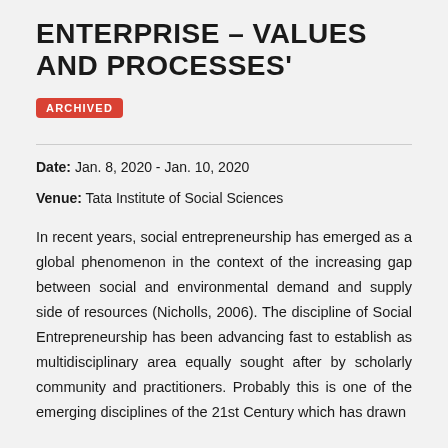ENTERPRISE – VALUES AND PROCESSES'
ARCHIVED
Date: Jan. 8, 2020 - Jan. 10, 2020
Venue: Tata Institute of Social Sciences
In recent years, social entrepreneurship has emerged as a global phenomenon in the context of the increasing gap between social and environmental demand and supply side of resources (Nicholls, 2006). The discipline of Social Entrepreneurship has been advancing fast to establish as multidisciplinary area equally sought after by scholarly community and practitioners. Probably this is one of the emerging disciplines of the 21st Century which has drawn